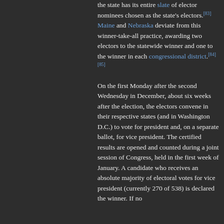the state has its entire slate of elector nominees chosen as the state's electors.[83] Maine and Nebraska deviate from this winner-take-all practice, awarding two electors to the statewide winner and one to the winner in each congressional district.[84][85]
On the first Monday after the second Wednesday in December, about six weeks after the election, the electors convene in their respective states (and in Washington D.C.) to vote for president and, on a separate ballot, for vice president. The certified results are opened and counted during a joint session of Congress, held in the first week of January. A candidate who receives an absolute majority of electoral votes for vice president (currently 270 of 538) is declared the winner. If no